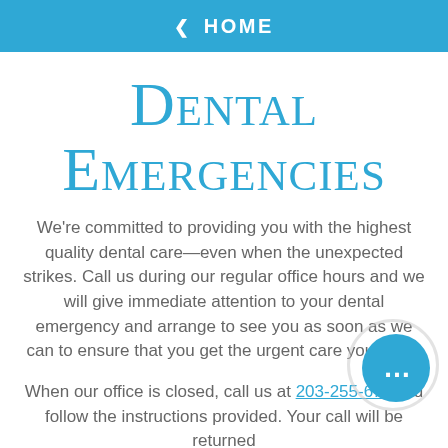< HOME
Dental Emergencies
We're committed to providing you with the highest quality dental care—even when the unexpected strikes. Call us during our regular office hours and we will give immediate attention to your dental emergency and arrange to see you as soon as we can to ensure that you get the urgent care you need.
When our office is closed, call us at 203-255-6… and follow the instructions provided. Your call will be returned